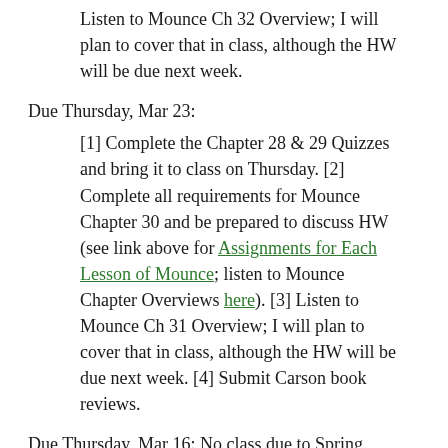Listen to Mounce Ch 32 Overview; I will plan to cover that in class, although the HW will be due next week.
Due Thursday, Mar 23:
[1] Complete the Chapter 28 & 29 Quizzes and bring it to class on Thursday. [2] Complete all requirements for Mounce Chapter 30 and be prepared to discuss HW (see link above for Assignments for Each Lesson of Mounce; listen to Mounce Chapter Overviews here). [3] Listen to Mounce Ch 31 Overview; I will plan to cover that in class, although the HW will be due next week. [4] Submit Carson book reviews.
Due Thursday, Mar 16: No class due to Spring Break. Review of Carson book is due Mar 23.